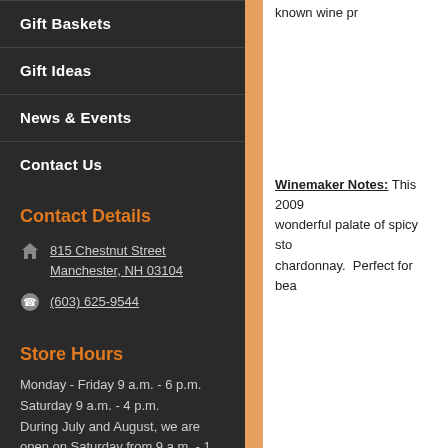Gift Baskets
Gift Ideas
News & Events
Contact Us
Contact Details
815 Chestnut Street Manchester, NH 03104
(603) 625-9544
Store Hours
Monday - Friday 9 a.m. - 6 p.m. Saturday 9 a.m. - 4 p.m. During July and August, we are open on Saturday from 9 a.m. - 1 p.m.
known wine pr
Winemaker Notes: This 2009 wonderful palate of spicy sto chardonnay. Perfect for bea
Winemaker Notes: This 2009 be found. Pure drinkability an grilled foods like fish, chicken